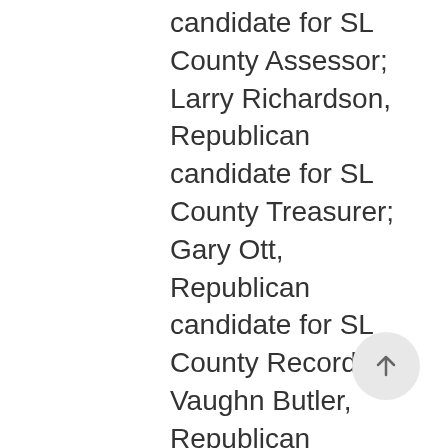candidate for SL County Assessor; Larry Richardson, Republican candidate for SL County Treasurer; Gary Ott, Republican candidate for SL County Recorder; Vaughn Butler, Republican candidate for SL County Surveyor; Kim Lundeberg, Democratic candidate for SL County Surveyor; Nick Floros spoke in behalf of Sherrie Swensen, Democratic candidate for SL County Clerk; Diana Lee Hirschi, Green candidate for SL County Council At-Large A; Bruce Reading, Republican candidate for SL County Council At-Large A; Dave Hansen spoke in behalf of John Swallow, Republican candidate for US Congress Dist. 2; Mike Zuhl spoke in behalf of Jim Mattheson,